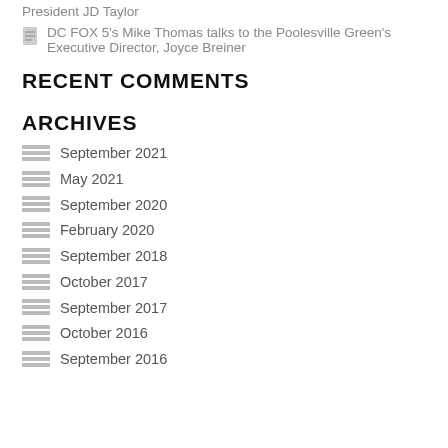DC FOX 5's Mike Thomas talks to the Poolesville Green's Executive Director, Joyce Breiner
RECENT COMMENTS
ARCHIVES
September 2021
May 2021
September 2020
February 2020
September 2018
October 2017
September 2017
October 2016
September 2016